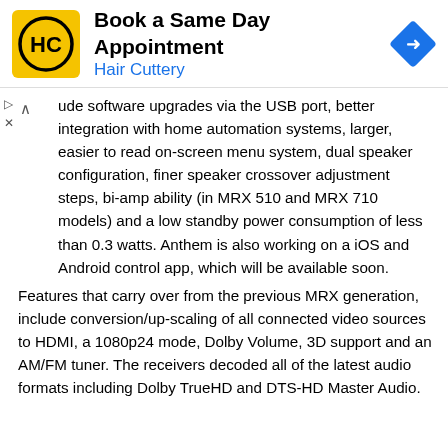[Figure (advertisement): Hair Cuttery advertisement banner: 'Book a Same Day Appointment' with Hair Cuttery logo (yellow square with HC letters) on the left and a blue diamond navigation arrow icon on the right.]
ude software upgrades via the USB port, better integration with home automation systems, larger, easier to read on-screen menu system, dual speaker configuration, finer speaker crossover adjustment steps, bi-amp ability (in MRX 510 and MRX 710 models) and a low standby power consumption of less than 0.3 watts. Anthem is also working on a iOS and Android control app, which will be available soon.
Features that carry over from the previous MRX generation, include conversion/up-scaling of all connected video sources to HDMI, a 1080p24 mode, Dolby Volume, 3D support and an AM/FM tuner.  The receivers decoded all of the latest audio formats including Dolby TrueHD and DTS-HD Master Audio.